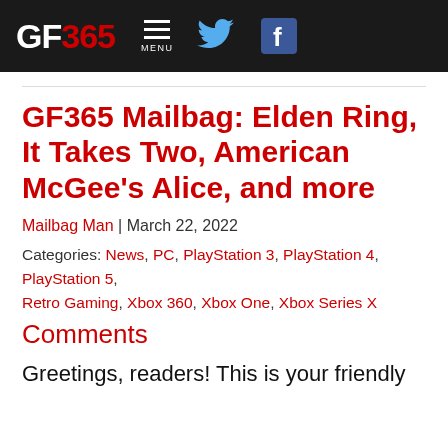GF365 | MENU | Twitter | Facebook
GF365 Mailbag: Elden Ring, It Takes Two, American McGee's Alice, and more
Mailbag Man | March 22, 2022
Categories: News, PC, PlayStation 3, PlayStation 4, PlayStation 5, Retro Gaming, Xbox 360, Xbox One, Xbox Series X
Comments
Greetings, readers! This is your friendly